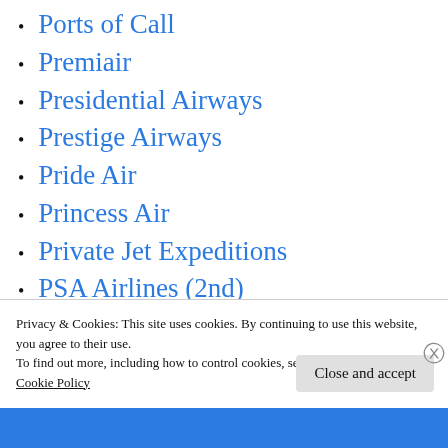Ports of Call
Premiair
Presidential Airways
Prestige Airways
Pride Air
Princess Air
Private Jet Expeditions
PSA Airlines (2nd)
PSA-Pacific Southwest Airlines
Pulkovo Aviation
Purdue Airlines
Privacy & Cookies: This site uses cookies. By continuing to use this website, you agree to their use.
To find out more, including how to control cookies, see here:
Cookie Policy